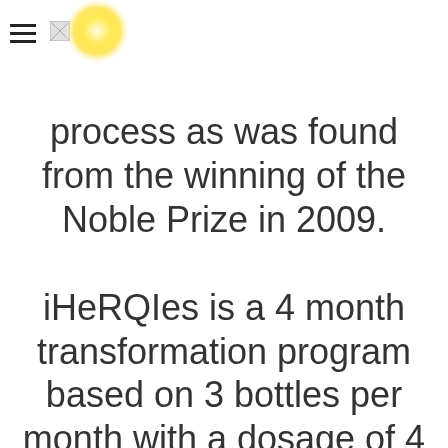[hamburger menu icon] [sun logo image]
process as was found from the winning of the Noble Prize in 2009.

iHeRQIes is a 4 month transformation program based on 3 bottles per month with a dosage of 4 sprays in your mouth, three times per day, 15 minutes before each meal. That